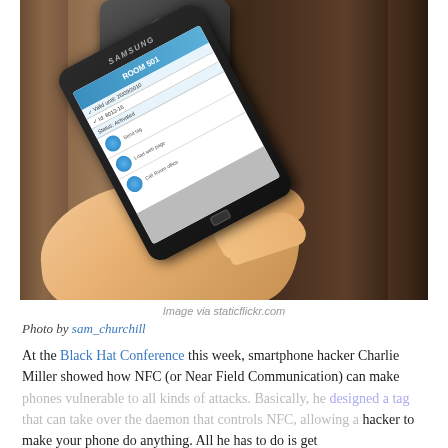[Figure (photo): A hand holding a Samsung smartphone up to an NFC door lock reader. The phone screen shows 'ROOM 501' information. The door is wooden with a dark metallic NFC reader mounted on it.]
Image via staticflickr.com
Photo by sam_churchill
At the Black Hat Conference this week, smartphone hacker Charlie Miller showed how NFC (or Near Field Communication) can make phones vulnerable to all kinds of attacks. Basically, he designed a tag that can take over the daemon that controls NFC, allowing a hacker to make your phone do anything. All he has to do is get